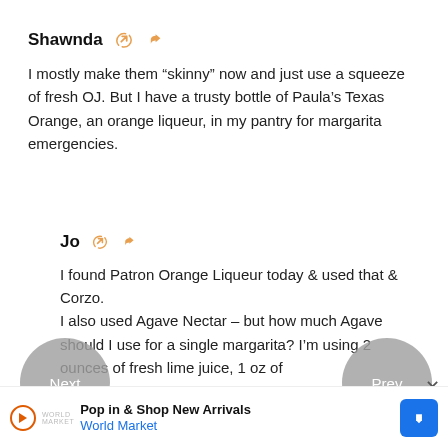Shawnda 🔗 ↩
I mostly make them “skinny” now and just use a squeeze of fresh OJ. But I have a trusty bottle of Paula’s Texas Orange, an orange liqueur, in my pantry for margarita emergencies.
Jo 🔗 ↩
I found Patron Orange Liqueur today & used that & Corzo. I also used Agave Nectar – but how much Agave should I use for a single margarita? I’m using 2 ounces of fresh lime juice, 1 oz of
[Figure (screenshot): Navigation buttons: 'Next' on left, 'Prev' on right, both circular gray buttons]
[Figure (screenshot): Advertisement bar at bottom: World Market 'Pop in & Shop New Arrivals' ad with play button, logo, and blue diamond navigation icon]